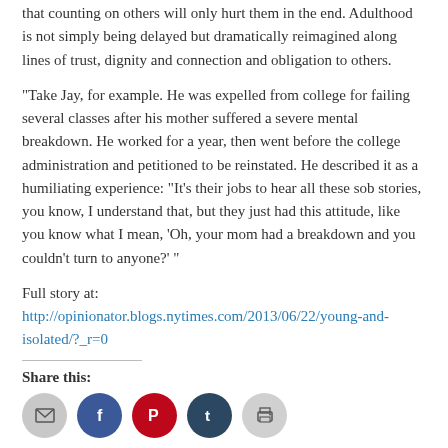that counting on others will only hurt them in the end. Adulthood is not simply being delayed but dramatically reimagined along lines of trust, dignity and connection and obligation to others.
“Take Jay, for example. He was expelled from college for failing several classes after his mother suffered a severe mental breakdown. He worked for a year, then went before the college administration and petitioned to be reinstated. He described it as a humiliating experience: “It’s their jobs to hear all these sob stories, you know, I understand that, but they just had this attitude, like you know what I mean, ‘Oh, your mom had a breakdown and you couldn’t turn to anyone?’ ”
Full story at: http://opinionator.blogs.nytimes.com/2013/06/22/young-and-isolated/?_r=0
Share this:
[Figure (infographic): Five social sharing icon buttons: email (gray circle), Facebook (blue circle), Pinterest (red circle), Tumblr (dark blue circle), Print (gray circle)]
June 24, 2013
Leave a reply